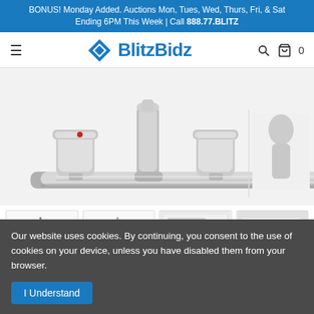BONUS! Monday Added. Auctions Mon, Tues, Wed, Thurs, Fri, & Sat Ending 6PM This Week | Call 888.77.BLITZ
[Figure (logo): BlitzBidz logo with blue diamond and navigation bar including hamburger menu, search icon, cart icon showing 0 items]
[Figure (photo): Close-up of a chrome kitchen faucet with two handles on a deck plate, shown against white background. Thumbnail images below show: full kitchen faucet view (x2), product box with red branding, and multiple boxed units.]
Our website uses cookies. By continuing, you consent to the use of cookies on your device, unless you have disabled them from your browser.
I Understand